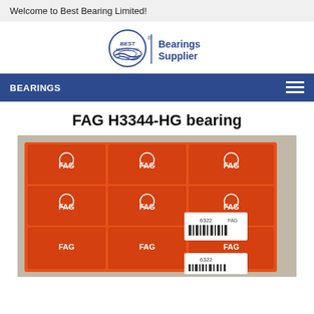Welcome to Best Bearing Limited!
[Figure (logo): Best Bearing Ltd logo with circular emblem and 'Bearings Supplier' text]
BEARINGS
FAG H3344-HG bearing
[Figure (photo): Stack of orange FAG bearing product boxes with FAG logo and barcode labels, model 6322 visible]